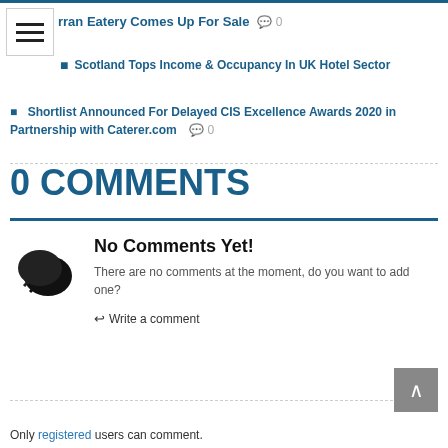rran Eatery Comes Up For Sale  0
Scotland Tops Income & Occupancy In UK Hotel Sector
Shortlist Announced For Delayed CIS Excellence Awards 2020 in Partnership with Caterer.com  0
0 COMMENTS
No Comments Yet!
There are no comments at the moment, do you want to add one?
↩ Write a comment
Only registered users can comment.